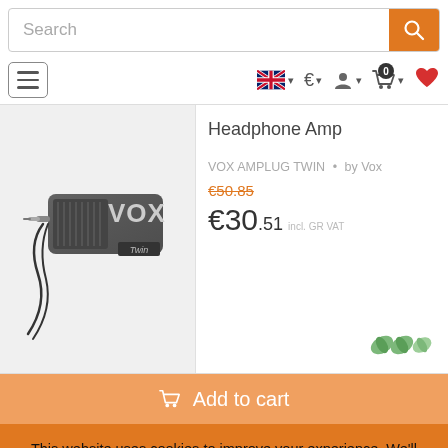[Figure (screenshot): E-commerce website screenshot showing search bar, navigation, VOX AMPLUG TWIN headphone amp product page with price €30.51 (was €50.85), and cookie consent banner]
Search
Headphone Amp
VOX AMPLUG TWIN • by Vox
€50.85
€30.51 incl. GR VAT
Add to cart
This website uses cookies to improve your experience. We'll assume you're ok with this, but you can opt-out if you wish. Cookie settings
ACCEPT